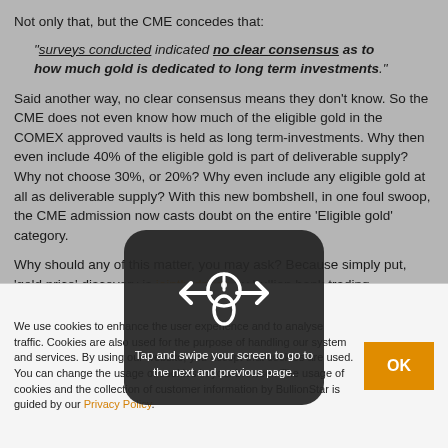Not only that, but the CME concedes that:
“surveys conducted indicated no clear consensus as to how much gold is dedicated to long term investments.”
Said another way, no clear consensus means they don’t know. So the CME does not even know how much of the eligible gold in the COMEX approved vaults is held as long term-investments. Why then even include 40% of the eligible gold is part of deliverable supply? Why not choose 30%, or 20%? Why even include any eligible gold at all as deliverable supply? With this new bombshell, in one foul swoop, the CME admission now casts doubt on the entire ‘Eligible gold’ category.
Why should any of this matter, you may ask? Because simply put, ‘gold price’ discovery is jointly driven by bullion bank trading
[Figure (infographic): Tap and swipe your screen to go to the next and previous page overlay with hand/arrow icon]
We use cookies to enhance the user experience and to analyse traffic. Cookies are also used for the purpose of handling our system and services. By using our website, you accept that cookies are used. You can change the usage of cookies in your browser. The usage of cookies and the collection of customer information by BullionStar is guided by our Privacy Policy.